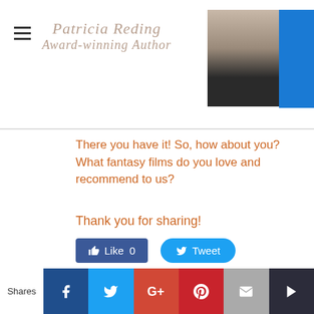Patricia Reding Award-winning Author
There you have it! So, how about you? What fantasy films do you love and recommend to us?
Thank you for sharing!
1 Comment
A Drift of Quills for